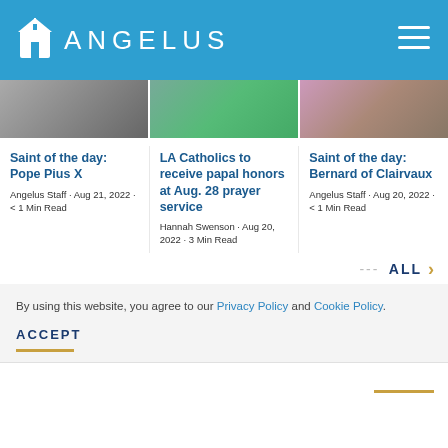ANGELUS
[Figure (photo): Three article thumbnail images in a row: pope figure, colorful gathering outdoors, two people indoors]
Saint of the day: Pope Pius X
Angelus Staff · Aug 21, 2022 · < 1 Min Read
LA Catholics to receive papal honors at Aug. 28 prayer service
Hannah Swenson · Aug 20, 2022 · 3 Min Read
Saint of the day: Bernard of Clairvaux
Angelus Staff · Aug 20, 2022 · < 1 Min Read
--- ALL >
By using this website, you agree to our Privacy Policy and Cookie Policy.
ACCEPT